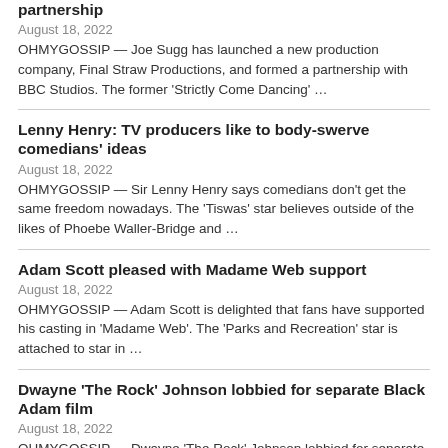partnership
August 18, 2022
OHMYGOSSIP — Joe Sugg has launched a new production company, Final Straw Productions, and formed a partnership with BBC Studios. The former 'Strictly Come Dancing' …
Lenny Henry: TV producers like to body-swerve comedians' ideas
August 18, 2022
OHMYGOSSIP — Sir Lenny Henry says comedians don't get the same freedom nowadays. The 'Tiswas' star believes outside of the likes of Phoebe Waller-Bridge and …
Adam Scott pleased with Madame Web support
August 18, 2022
OHMYGOSSIP — Adam Scott is delighted that fans have supported his casting in 'Madame Web'. The 'Parks and Recreation' star is attached to star in …
Dwayne 'The Rock' Johnson lobbied for separate Black Adam film
August 18, 2022
OHMYGOSSIP — Dwayne 'The Rock' Johnson lobbied for separate 'Black Adam' and 'Shazam!' origin stories. The 50-year-old actor will play the title role in the …
Aaron Ramsey…